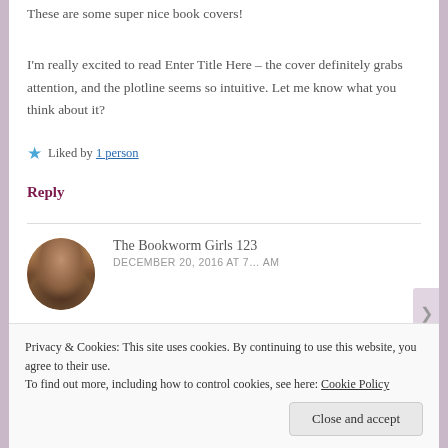These are some super nice book covers!
I'm really excited to read Enter Title Here – the cover definitely grabs attention, and the plotline seems so intuitive. Let me know what you think about it?
★ Liked by 1 person
Reply
The Bookworm Girls 123
DECEMBER 20, 2016 AT 7…AM
Privacy & Cookies: This site uses cookies. By continuing to use this website, you agree to their use. To find out more, including how to control cookies, see here: Cookie Policy
Close and accept